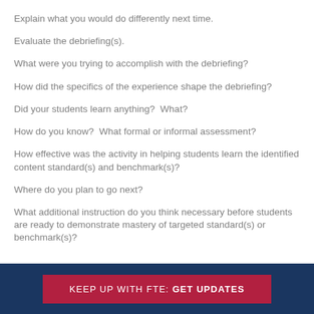Explain what you would do differently next time.
Evaluate the debriefing(s).
What were you trying to accomplish with the debriefing?
How did the specifics of the experience shape the debriefing?
Did your students learn anything?  What?
How do you know?  What formal or informal assessment?
How effective was the activity in helping students learn the identified content standard(s) and benchmark(s)?
Where do you plan to go next?
What additional instruction do you think necessary before students are ready to demonstrate mastery of targeted standard(s) or benchmark(s)?
KEEP UP WITH FTE: GET UPDATES